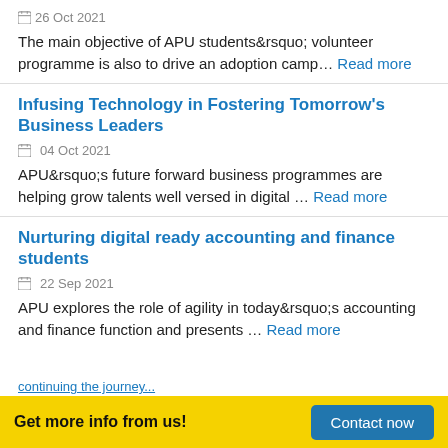📅 26 Oct 2021
The main objective of APU students&rsquo; volunteer programme is also to drive an adoption camp… Read more
Infusing Technology in Fostering Tomorrow's Business Leaders
📅 04 Oct 2021
APU&rsquo;s future forward business programmes are helping grow talents well versed in digital … Read more
Nurturing digital ready accounting and finance students
📅 22 Sep 2021
APU explores the role of agility in today&rsquo;s accounting and finance function and presents … Read more
Get more info from us! Contact now